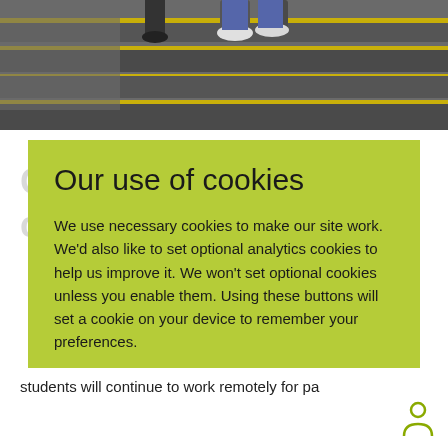[Figure (photo): Photo of students on stairs with yellow edge strips, viewed from above]
Our use of cookies
We use necessary cookies to make our site work. We'd also like to set optional analytics cookies to help us improve it. We won't set optional cookies unless you enable them. Using these buttons will set a cookie on your device to remember your preferences.
Change Preferences
Accept All
students will continue to work remotely for pa